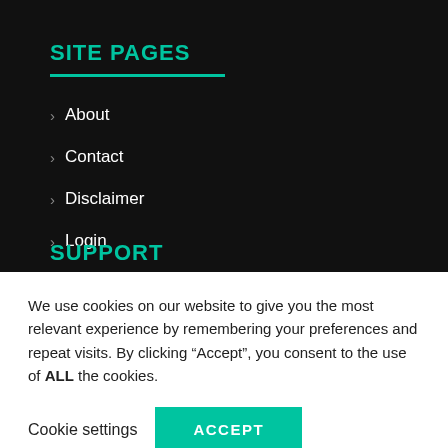SITE PAGES
About
Contact
Disclaimer
Login
SUPPORT
We use cookies on our website to give you the most relevant experience by remembering your preferences and repeat visits. By clicking “Accept”, you consent to the use of ALL the cookies.
Cookie settings   ACCEPT